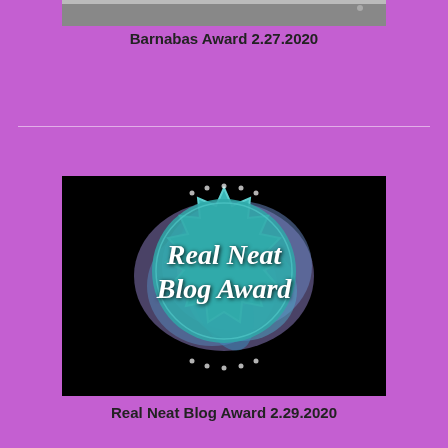[Figure (photo): Top portion of an image partially visible at the top of the page, appears gray/dark]
Barnabas Award 2.27.2020
[Figure (illustration): Real Neat Blog Award badge: a teal starburst/seal shape with watercolor blue and purple background, white italic text reading 'Real Neat Blog Award', on a black background]
Real Neat Blog Award 2.29.2020